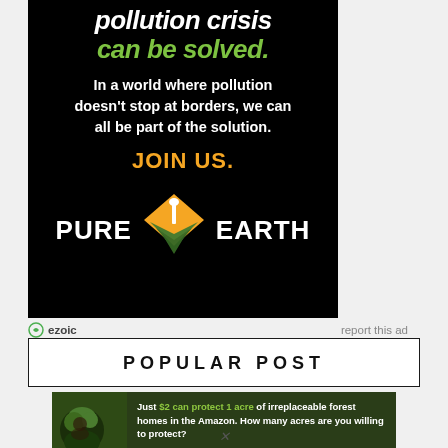[Figure (illustration): Pure Earth environmental ad on black background. White bold italic text 'pollution crisis' and green bold italic text 'can be solved.' White text body copy: 'In a world where pollution doesn't stop at borders, we can all be part of the solution.' Orange bold text 'JOIN US.' Below is the Pure Earth logo: orange/yellow diamond shape with shovel icon and green stacked layers, flanked by white bold text 'PURE' and 'EARTH'.]
ezoic   report this ad
POPULAR POST
[Figure (illustration): Forest conservation banner ad. Dark green background with animal photo on left. White text: 'Just $2 can protect 1 acre of irreplaceable forest homes in the Amazon. How many acres are you willing to protect?' Green button: 'PROTECT FORESTS NOW']